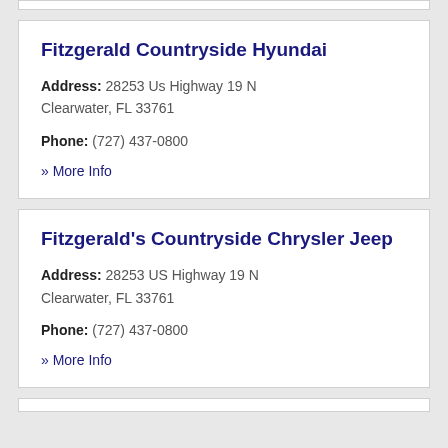Fitzgerald Countryside Hyundai
Address: 28253 Us Highway 19 N
Clearwater, FL 33761
Phone: (727) 437-0800
» More Info
Fitzgerald's Countryside Chrysler Jeep
Address: 28253 US Highway 19 N
Clearwater, FL 33761
Phone: (727) 437-0800
» More Info